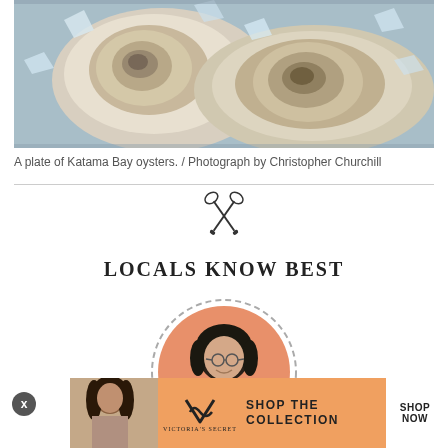[Figure (photo): A plate of Katama Bay oysters on ice, two open oyster shells visible on crushed ice on a metal plate]
A plate of Katama Bay oysters. / Photograph by Christopher Churchill
[Figure (illustration): Crossed oars icon — two oar silhouettes crossing in an X pattern]
LOCALS KNOW BEST
[Figure (photo): Circular profile photo of a woman with dark hair, glasses, and a smile, set on a peach/salmon background with a dashed circular border]
[Figure (other): Victoria's Secret advertisement banner: model photo on left, VS logo, text SHOP THE COLLECTION, SHOP NOW button on white background]